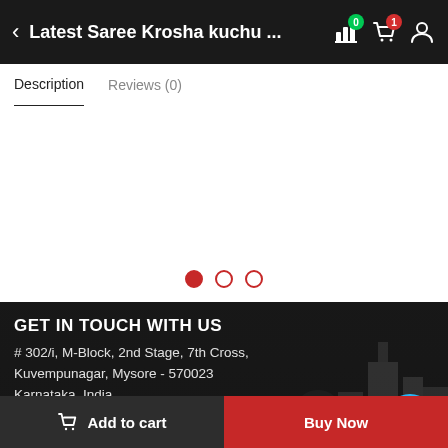Latest Saree Krosha kuchu ...
Description   Reviews (0)
[Figure (screenshot): Carousel image area with 3 pagination dots, first dot filled red (active), two empty circles]
GET IN TOUCH WITH US
# 302/i, M-Block, 2nd Stage, 7th Cross, Kuvempunagar, Mysore - 570023 Karnataka, India.
View Address in Map
Call To Screations?
Connect Facebook Messenger
Add to cart   Buy Now